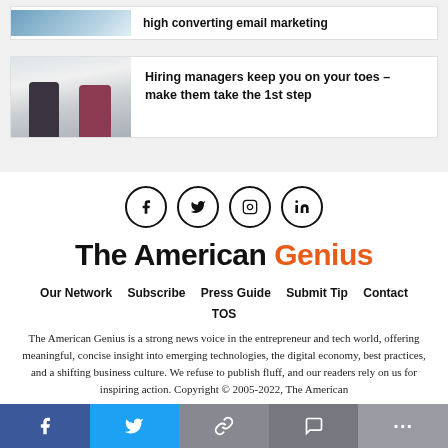high converting email marketing
Hiring managers keep you on your toes – make them take the 1st step
[Figure (illustration): Social media icons: Facebook, Twitter, Instagram, LinkedIn in circles]
The American Genius
Our Network  Subscribe  Press Guide  Submit Tip  Contact  TOS
The American Genius is a strong news voice in the entrepreneur and tech world, offering meaningful, concise insight into emerging technologies, the digital economy, best practices, and a shifting business culture. We refuse to publish fluff, and our readers rely on us for inspiring action. Copyright © 2005-2022, The American Genius, LLC.
[Figure (other): Share bar with Facebook, Twitter, link, comment, and more buttons]